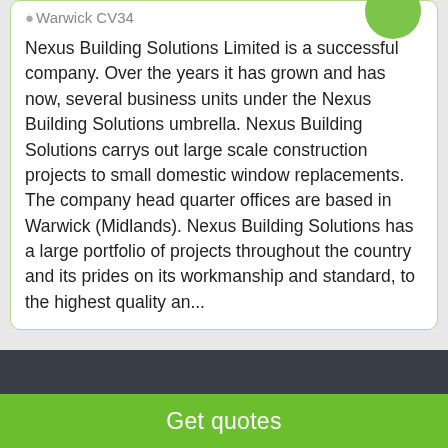Warwick CV34
Nexus Building Solutions Limited is a successful company. Over the years it has grown and has now, several business units under the Nexus Building Solutions umbrella. Nexus Building Solutions carrys out large scale construction projects to small domestic window replacements. The company head quarter offices are based in Warwick (Midlands). Nexus Building Solutions has a large portfolio of projects throughout the country and its prides on its workmanship and standard, to the highest quality an...
Albiston Developments Ltd /a...
Get quotes